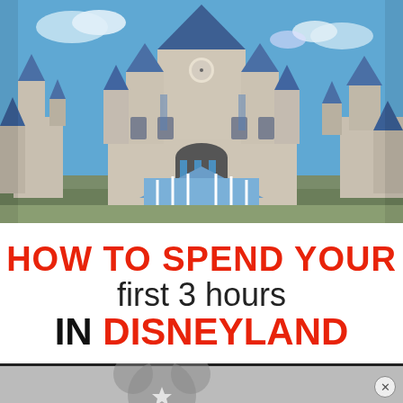[Figure (photo): Photo of Cinderella Castle (or Sleeping Beauty Castle) at Disneyland/Disney World under a blue sky with some clouds. The castle features blue-tipped spires and stone-colored towers.]
HOW TO SPEND YOUR first 3 hours IN DISNEYLAND
[Figure (photo): Partial view of Mickey Mouse ears/silhouette graphic at the bottom of the image.]